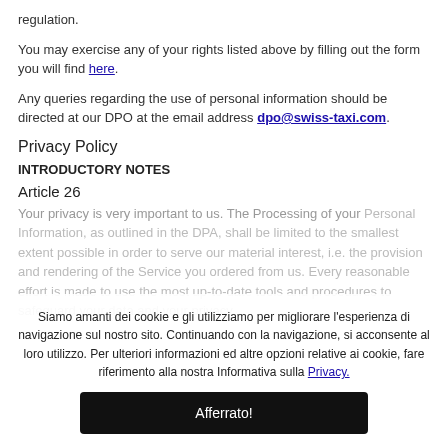regulation.
You may exercise any of your rights listed above by filling out the form you will find here.
Any queries regarding the use of personal information should be directed at our DPO at the email address dpo@swiss-taxi.com.
Privacy Policy
INTRODUCTORY NOTES
Article 26
Your privacy is very important to us. The Processing of your Personal Information, as outlined in the DPA, shall be limited to the smallest extent possible in order to serve our material interest, i.e. the provision and rendering of the Service you ordered from us. Every reasonable effort is made to use the most up-to-date tools and procedures to safeguard your data and your privacy.
Siamo amanti dei cookie e gli utilizziamo per migliorare l'esperienza di navigazione sul nostro sito. Continuando con la navigazione, si acconsente al loro utilizzo. Per ulteriori informazioni ed altre opzioni relative ai cookie, fare riferimento alla nostra Informativa sulla Privacy.